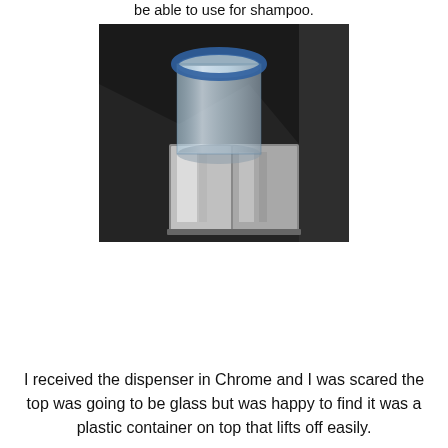be able to use for shampoo.
[Figure (photo): A chrome soap/shampoo dispenser with a clear plastic cylindrical container on top and a square chrome base, placed on a dark black fabric background.]
I received the dispenser in Chrome and I was scared the top was going to be glass but was happy to find it was a plastic container on top that lifts off easily.